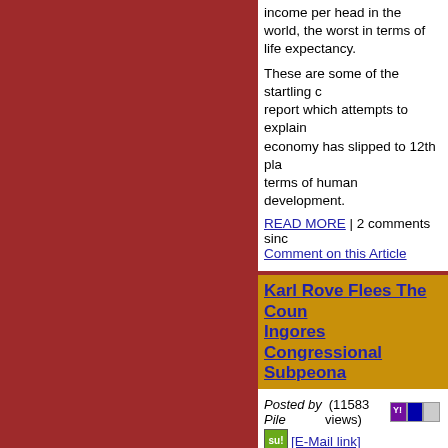income per head in the world, the worst in terms of life expectancy.
These are some of the startling conclusions of a report which attempts to explain why the U.S. economy has slipped to 12th place overall, in terms of human development.
READ MORE | 2 comments since
Comment on this Article
Karl Rove Flees The Country And Ingores Congressional Subpeona
Posted by Pile (11583 views) [E-Mail link]
Karl Rove was scheduled to testify before the Judiciary Committee yesterday. However, the Committee was told that Rove was on a "long scheduled" trip.
READ MORE | No comments | C
2+ Years Later, Louisiana Homeowners Still Waitin